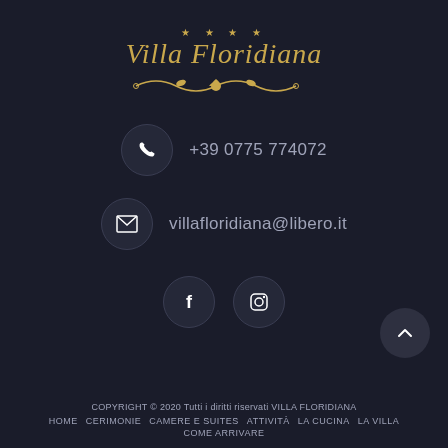[Figure (logo): Villa Floridiana logo with gold stars, italic serif text and decorative ornament on dark background]
+39 0775 774072
villafloridiana@libero.it
[Figure (illustration): Facebook and Instagram circular icon buttons]
[Figure (illustration): Back to top arrow button (chevron up)]
COPYRIGHT © 2020 Tutti i diritti riservati VILLA FLORIDIANA
HOME  CERIMONIE  CAMERE E SUITES  ATTIVITÀ  LA CUCINA  LA VILLA  COME ARRIVARE